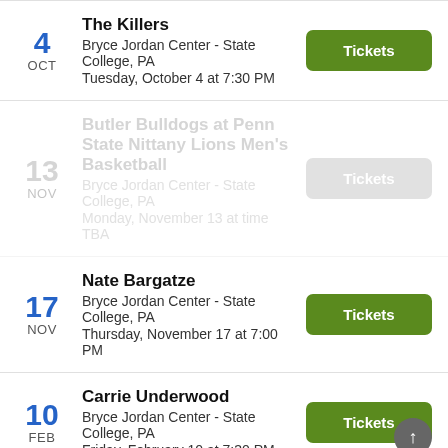4 OCT | The Killers | Bryce Jordan Center - State College, PA | Tuesday, October 4 at 7:30 PM
13 NOV | Butler Bulldogs at Penn State Nittany Lions Men's Basketball | Bryce Jordan Center - State College, PA | Monday, November 13 at time TBA
17 NOV | Nate Bargatze | Bryce Jordan Center - State College, PA | Thursday, November 17 at 7:00 PM
10 FEB | Carrie Underwood | Bryce Jordan Center - State College, PA | Friday, February 10 at 7:30 PM
18 | Bruce Springsteen